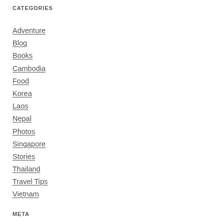CATEGORIES
Adventure
Blog
Books
Cambodia
Food
Korea
Laos
Nepal
Photos
Singapore
Stories
Thailand
Travel Tips
Vietnam
META